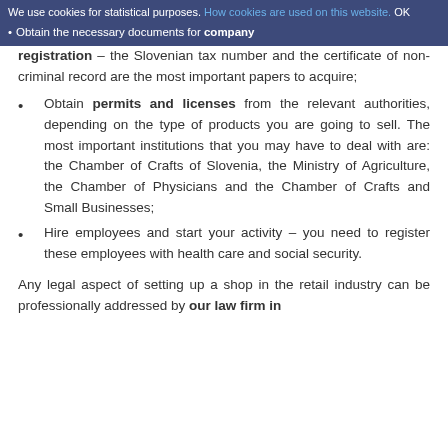We use cookies for statistical purposes. How cookies are used on this website. OK
Obtain the necessary documents for company registration – the Slovenian tax number and the certificate of non-criminal record are the most important papers to acquire;
Obtain permits and licenses from the relevant authorities, depending on the type of products you are going to sell. The most important institutions that you may have to deal with are: the Chamber of Crafts of Slovenia, the Ministry of Agriculture, the Chamber of Physicians and the Chamber of Crafts and Small Businesses;
Hire employees and start your activity – you need to register these employees with health care and social security.
Any legal aspect of setting up a shop in the retail industry can be professionally addressed by our law firm in